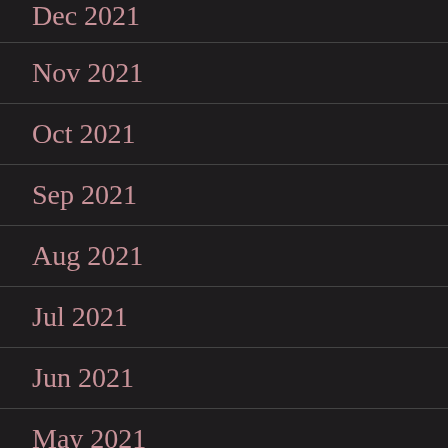Dec 2021
Nov 2021
Oct 2021
Sep 2021
Aug 2021
Jul 2021
Jun 2021
May 2021
Apr 2021